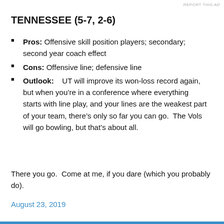REPORT THIS AD
TENNESSEE (5-7, 2-6)
Pros: Offensive skill position players; secondary; second year coach effect
Cons: Offensive line; defensive line
Outlook: UT will improve its won-loss record again, but when you’re in a conference where everything starts with line play, and your lines are the weakest part of your team, there’s only so far you can go. The Vols will go bowling, but that’s about all.
There you go. Come at me, if you dare (which you probably do).
August 23, 2019